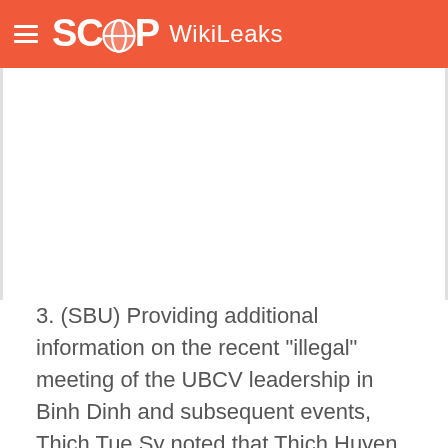SCOOP WikiLeaks
[Figure (other): White blank area (advertisement or image placeholder)]
3. (SBU) Providing additional information on the recent "illegal" meeting of the UBCV leadership in Binh Dinh and subsequent events, Thich Tue Sy noted that Thich Huyen Quang was now officially the